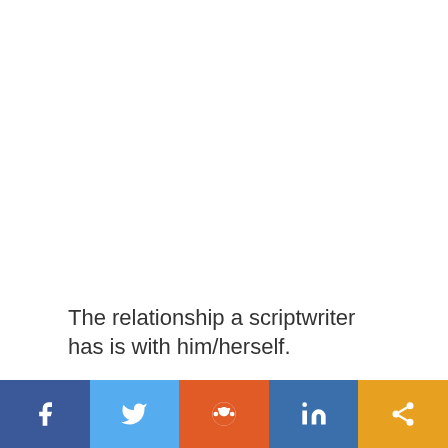The relationship a scriptwriter has is with him/herself.
[Figure (other): Social media share bar with Facebook, Twitter, Reddit, LinkedIn, and Share buttons]